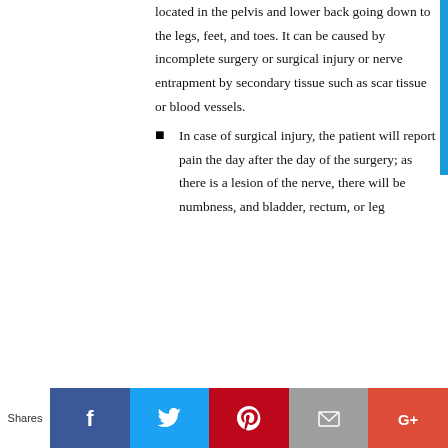located in the pelvis and lower back going down to the legs, feet, and toes. It can be caused by incomplete surgery or surgical injury or nerve entrapment by secondary tissue such as scar tissue or blood vessels.
In case of surgical injury, the patient will report pain the day after the day of the surgery; as there is a lesion of the nerve, there will be numbness, and bladder, rectum, or leg
Shares